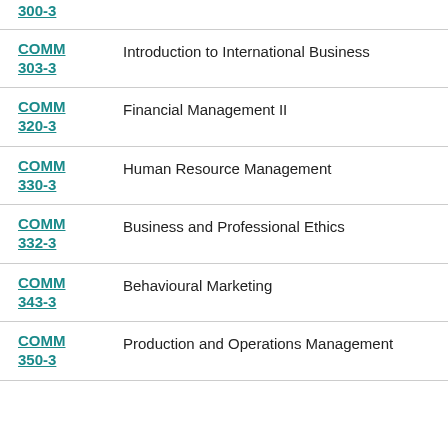COMM 300-3
COMM 303-3 — Introduction to International Business
COMM 320-3 — Financial Management II
COMM 330-3 — Human Resource Management
COMM 332-3 — Business and Professional Ethics
COMM 343-3 — Behavioural Marketing
COMM 350-3 — Production and Operations Management